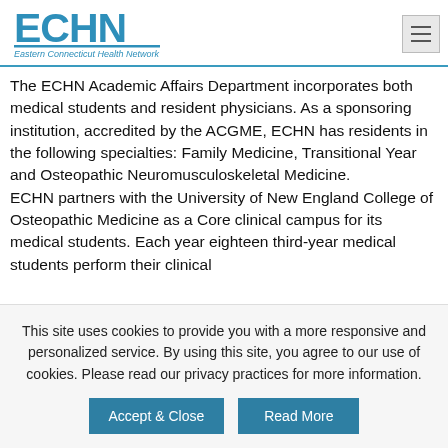[Figure (logo): ECHN Eastern Connecticut Health Network logo with blue text and tagline]
The ECHN Academic Affairs Department incorporates both medical students and resident physicians. As a sponsoring institution, accredited by the ACGME, ECHN has residents in the following specialties: Family Medicine, Transitional Year and Osteopathic Neuromusculoskeletal Medicine. ECHN partners with the University of New England College of Osteopathic Medicine as a Core clinical campus for its medical students. Each year eighteen third-year medical students perform their clinical
This site uses cookies to provide you with a more responsive and personalized service. By using this site, you agree to our use of cookies. Please read our privacy practices for more information.
Accept & Close
Read More